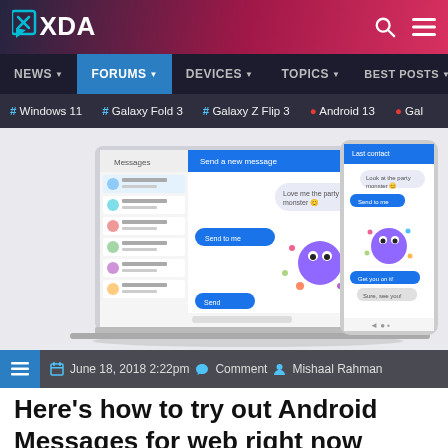XDA Developers
NEWS | FORUMS | DEVICES | TOPICS | BEST POSTS
#Windows 11 | #Galaxy Fold 3 | #Galaxy Z Flip 3 | #Android 13 | #Gal
[Figure (screenshot): Screenshot of Android Messages for web interface shown on a laptop and a mobile phone]
June 18, 2018 2:22pm   Comment   Mishaal Rahman
Here's how to try out Android Messages for web right now [Root]